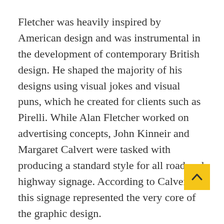Fletcher was heavily inspired by American design and was instrumental in the development of contemporary British design. He shaped the majority of his designs using visual jokes and visual puns, which he created for clients such as Pirelli. While Alan Fletcher worked on advertising concepts, John Kinneir and Margaret Calvert were tasked with producing a standard style for all road and highway signage. According to Calvert, this signage represented the very core of the graphic design.
Kinneir and Calver's signs immediately became as recognisably British as black taxis and London buses, and they not only